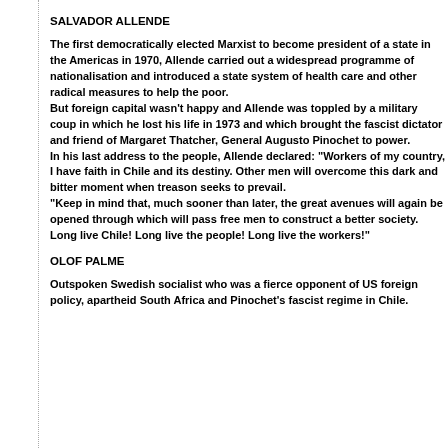SALVADOR ALLENDE
The first democratically elected Marxist to become president of a state in the Americas in 1970, Allende carried out a widespread programme of nationalisation and introduced a state system of health care and other radical measures to help the poor.
But foreign capital wasn't happy and Allende was toppled by a military coup in which he lost his life in 1973 and which brought the fascist dictator and friend of Margaret Thatcher, General Augusto Pinochet to power.
In his last address to the people, Allende declared: "Workers of my country, I have faith in Chile and its destiny. Other men will overcome this dark and bitter moment when treason seeks to prevail.
"Keep in mind that, much sooner than later, the great avenues will again be opened through which will pass free men to construct a better society. Long live Chile! Long live the people! Long live the workers!"
OLOF PALME
Outspoken Swedish socialist who was a fierce opponent of US foreign policy, apartheid South Africa and Pinochet's fascist regime in Chile.